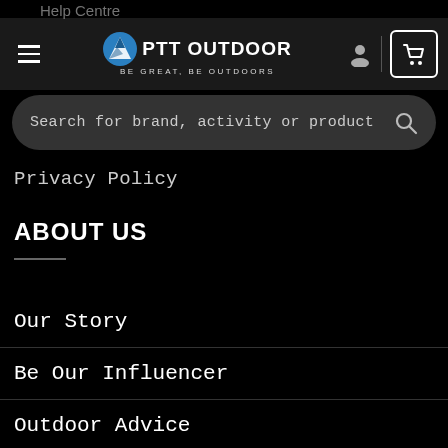Help Centre
Terms & Conditions
[Figure (logo): PTT Outdoor logo with mountain icon and tagline BE GREAT, BE OUTDOORS]
Search for brand, activity or product
Privacy Policy
ABOUT US
Our Story
Be Our Influencer
Outdoor Advice
Join Our Team
Contact Us